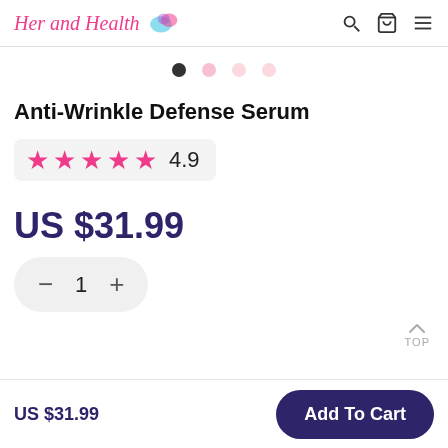Her and Health
[Figure (other): Carousel dots: one dark active dot and three pink inactive dots]
Anti-Wrinkle Defense Serum
★★★★★ 4.9
US $31.99
— 1 +
TOP
US $31.99
Add To Cart